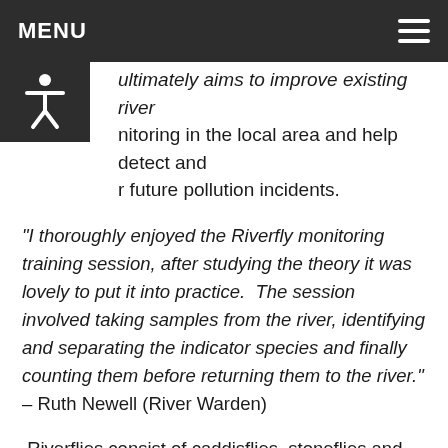MENU
ultimately aims to improve existing river monitoring in the local area and help detect and better future pollution incidents.
"I thoroughly enjoyed the Riverfly monitoring training session, after studying the theory it was lovely to put it into practice.  The session involved taking samples from the river, identifying and separating the indicator species and finally counting them before returning them to the river." – Ruth Newell (River Warden)
Riverflies consist of caddisflies, stoneflies and mayflies which live most of their lives as larvae on the bed of rivers, emerging as short-lived adult flies. Acting as a biological indicators of river